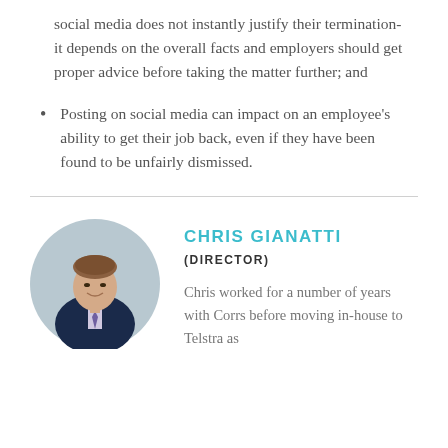social media does not instantly justify their termination- it depends on the overall facts and employers should get proper advice before taking the matter further; and
Posting on social media can impact on an employee's ability to get their job back, even if they have been found to be unfairly dismissed.
[Figure (photo): Circular headshot photo of Chris Gianatti, a man in a dark navy suit with a purple tie, smiling, against a light grey background.]
CHRIS GIANATTI
(DIRECTOR)
Chris worked for a number of years with Corrs before moving in-house to Telstra as